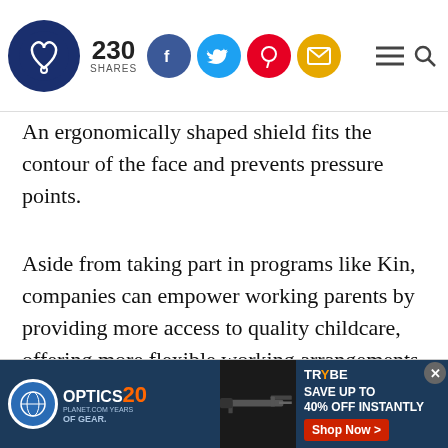230 SHARES — social share bar with Facebook, Twitter, Pinterest, Email icons
An ergonomically shaped shield fits the contour of the face and prevents pressure points.
Aside from taking part in programs like Kin, companies can empower working parents by providing more access to quality childcare, offering more flexible working arrangements, and, in general, creating more family-friendly policies.
[Figure (screenshot): Advertisement banner: Optics Planet 20 years logo on dark blue background with gun/rifle image, Trybe Gear logo with 'SAVE UP TO 40% OFF INSTANTLY' text and red 'Shop Now >' button]